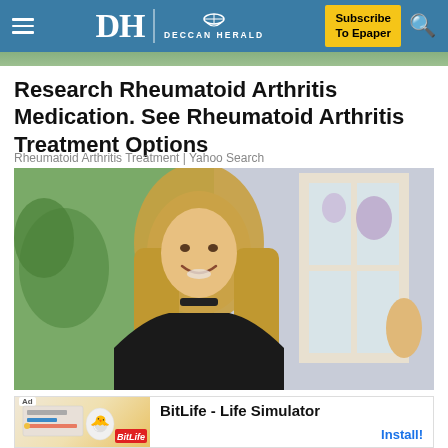DH DECCAN HERALD | Subscribe To Epaper
Research Rheumatoid Arthritis Medication. See Rheumatoid Arthritis Treatment Options
Rheumatoid Arthritis Treatment | Yahoo Search
[Figure (photo): Smiling blonde woman with long hair standing near a window, wearing a black off-shoulder top]
[Figure (illustration): Ad banner for BitLife - Life Simulator app showing Install button]